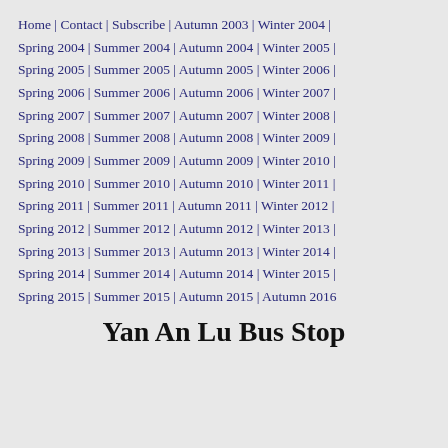Home | Contact | Subscribe | Autumn 2003 | Winter 2004 | Spring 2004 | Summer 2004 | Autumn 2004 | Winter 2005 | Spring 2005 | Summer 2005 | Autumn 2005 | Winter 2006 | Spring 2006 | Summer 2006 | Autumn 2006 | Winter 2007 | Spring 2007 | Summer 2007 | Autumn 2007 | Winter 2008 | Spring 2008 | Summer 2008 | Autumn 2008 | Winter 2009 | Spring 2009 | Summer 2009 | Autumn 2009 | Winter 2010 | Spring 2010 | Summer 2010 | Autumn 2010 | Winter 2011 | Spring 2011 | Summer 2011 | Autumn 2011 | Winter 2012 | Spring 2012 | Summer 2012 | Autumn 2012 | Winter 2013 | Spring 2013 | Summer 2013 | Autumn 2013 | Winter 2014 | Spring 2014 | Summer 2014 | Autumn 2014 | Winter 2015 | Spring 2015 | Summer 2015 | Autumn 2015 | Autumn 2016
Yan An Lu Bus Stop